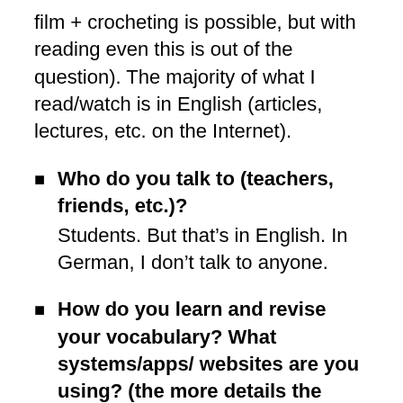film + crocheting is possible, but with reading even this is out of the question). The majority of what I read/watch is in English (articles, lectures, etc. on the Internet).
Who do you talk to (teachers, friends, etc.)? Students. But that’s in English. In German, I don’t talk to anyone.
How do you learn and revise your vocabulary? What systems/apps/ websites are you using? (the more details the better) To learn German, I used Duolingo. I did it because I was interested in whether a program can really teach you anything. It taught me a couple of things, but not much. To study some C2 vocab when I was getting ready to take my CPE exam, I used Quizlet. I created flashcards myself, but I didn’t use them